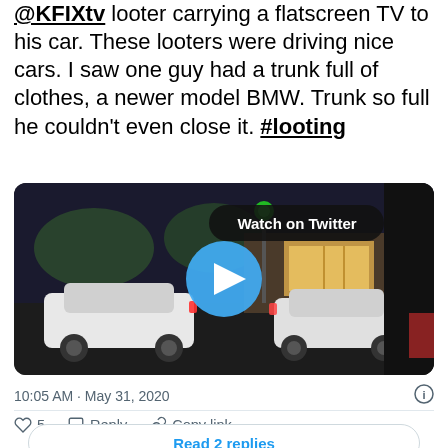@KFIXtv looter carrying a flatscreen TV to his car. These looters were driving nice cars. I saw one guy had a trunk full of clothes, a newer model BMW. Trunk so full he couldn't even close it. #looting
[Figure (screenshot): Twitter video thumbnail showing a nighttime parking lot scene with cars, a street lamp, and a 'Watch on Twitter' overlay with play button]
10:05 AM · May 31, 2020
♡ 5   Reply   Copy link
Read 2 replies